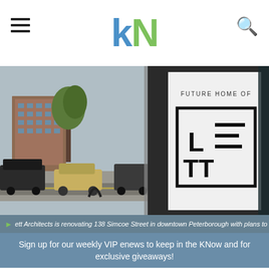kN
[Figure (photo): Street view of 138 Simcoe Street in downtown Peterborough with a 'Future Home of Lett Architects' sign visible in a storefront window. A gold/tan sedan and black SUV are parked on the street, with a red brick building visible across the road.]
ett Architects is renovating 138 Simcoe Street in downtown Peterborough with plans to
Sign up for our weekly VIP enews to keep in the KNow and for exclusive giveaways!
Your email address..
SUBSCRIBE